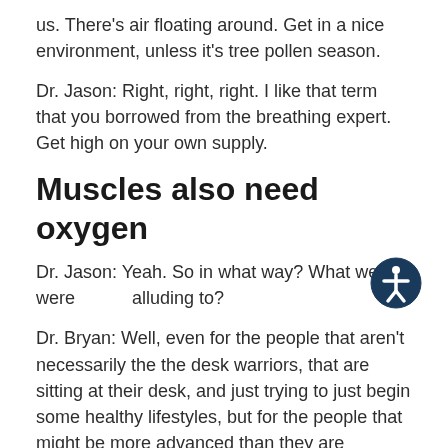us. There's air floating around. Get in a nice environment, unless it's tree pollen season.
Dr. Jason: Right, right, right. I like that term that you borrowed from the breathing expert. Get high on your own supply.
Muscles also need oxygen
Dr. Jason: Yeah. So in what way? What we were alluding to?
Dr. Bryan: Well, even for the people that aren't necessarily the the desk warriors, that are sitting at their desk, and just trying to just begin some healthy lifestyles, but for the people that might be more advanced than they are performing in athletic competitions, or even trying to build muscle tissue. Where does oxygen come in?